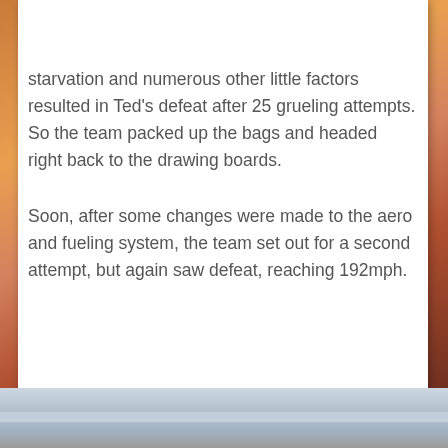SH | SHARE [social icons: Facebook, Twitter, Google+]
starvation and numerous other little factors resulted in Ted's defeat after 25 grueling attempts. So the team packed up the bags and headed right back to the drawing boards.
Soon, after some changes were made to the aero and fueling system, the team set out for a second attempt, but again saw defeat, reaching 192mph.
[Figure (photo): Sunset/sky landscape photo visible at bottom of page]